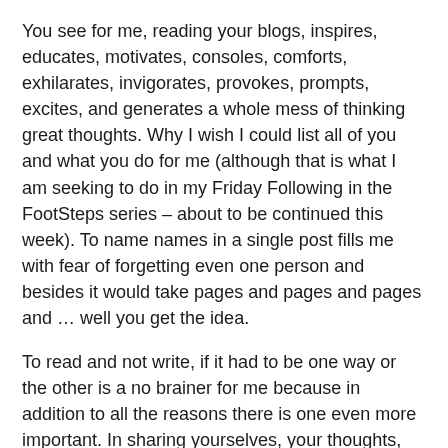You see for me, reading your blogs, inspires, educates, motivates, consoles, comforts, exhilarates, invigorates, provokes, prompts, excites, and generates a whole mess of thinking great thoughts.  Why I wish I could list all of you and what you do for me (although that is what I am seeking to do in my Friday Following in the FootSteps series – about to be continued this week). To name names in a single post fills me with fear of forgetting even one person and besides it would take pages and pages and pages and … well you get the idea.
To read and not write, if it had to be one way or the other is a no brainer for me because in addition to all the reasons there is one even more important.  In sharing yourselves, your thoughts, you are allowing yourself to be known.  To be cherished.  And therein lies the real truth.  You have become part of my world, part of my existence.  And my life would be poorer without you.
I would beg the 3 I...